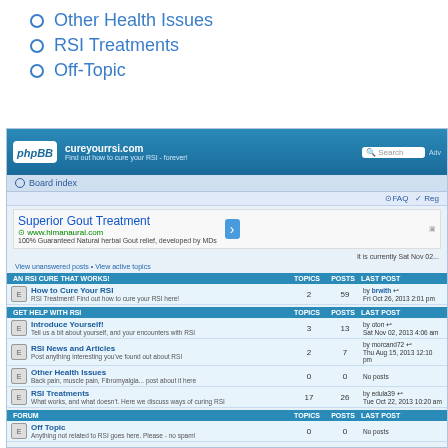Other Health Issues
RSI Treatments
Off-Topic
[Figure (screenshot): Screenshot of cureyourrsi.com phpBB forum index showing board sections: AN RSI CURE THAT WORKS!, GET HELP WITH RSI, and FORUM, with forum categories, post counts, and last post information. Includes login form at bottom.]